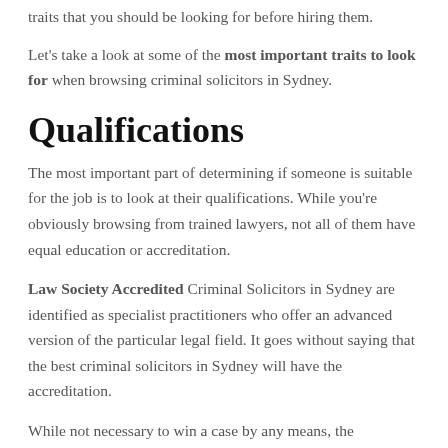traits that you should be looking for before hiring them.
Let's take a look at some of the most important traits to look for when browsing criminal solicitors in Sydney.
Qualifications
The most important part of determining if someone is suitable for the job is to look at their qualifications. While you're obviously browsing from trained lawyers, not all of them have equal education or accreditation.
Law Society Accredited Criminal Solicitors in Sydney are identified as specialist practitioners who offer an advanced version of the particular legal field. It goes without saying that the best criminal solicitors in Sydney will have the accreditation.
While not necessary to win a case by any means, the accreditation goes that extra bit further in providing your case with highly developed legal skills. These kinds of extra